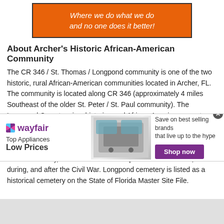[Figure (other): Orange promotional banner with italic white text: 'Where we do what we do and no one does it better!']
About Archer's Historic African-American Community
The CR 346 / St. Thomas / Longpond community is one of the two historic, rural African-American communities located in Archer, FL. The community is located along CR 346 (approximately 4 miles Southeast of the older St. Peter / St. Paul community). The Longpond Cemetery is a historic, rural African-American cemetery located on the St. Thomas church property. Longpond cemetery has graves dating back to 1895 and is the resting place of WWI & WWII African-American veterans, Preston Mosley (FL PVT 322 Labor Co OMC), and African-American persons born before, during, and after the Civil War. Longpond cemetery is listed as a historical cemetery on the State of Florida Master Site File.
[Figure (other): Wayfair advertisement banner: Top Appliances Low Prices, Save on best selling brands that live up to the hype, Shop now button]